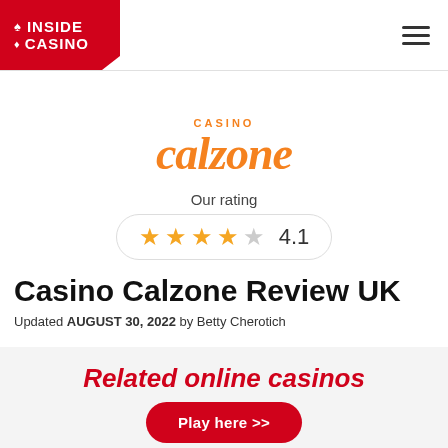INSIDE CASINO
[Figure (logo): Casino Calzone logo in orange/red script font with 'CASINO' above 'calzone']
Our rating
★★★★☆ 4.1
Casino Calzone Review UK
Updated AUGUST 30, 2022 by Betty Cherotich
Related online casinos
Play here >>